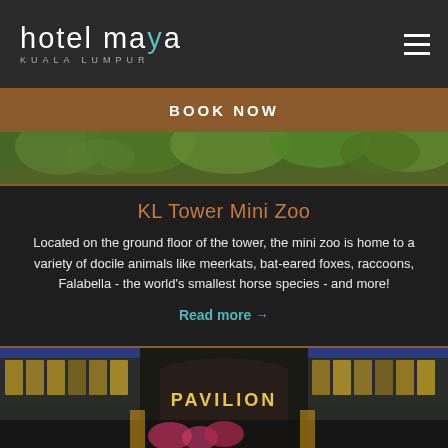hotel maya KUALA LUMPUR
BOOK NOW
[Figure (photo): Partial view of trees and outdoor area at top of content]
KL Tower Mini Zoo
Located on the ground floor of the tower, the mini zoo is home to a variety of docile animals like meerkats, bat-eared foxes, raccoons, Falabella - the world's smallest horse species - and more!
Read more →
[Figure (photo): Night exterior photo of Pavilion mall entrance with illuminated signage]